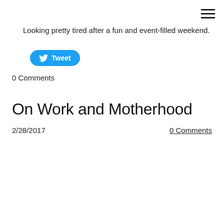Looking pretty tired after a fun and event-filled weekend.
[Figure (other): Twitter Tweet button]
0 Comments
On Work and Motherhood
2/28/2017
0 Comments